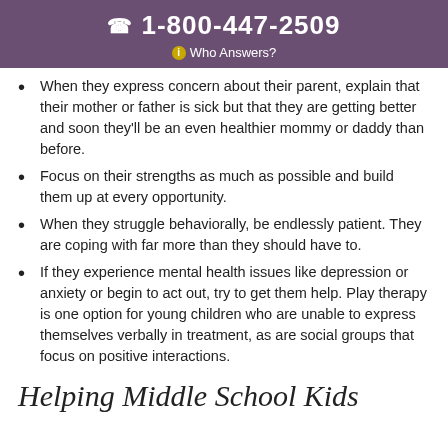1-800-447-2509 | Who Answers?
When they express concern about their parent, explain that their mother or father is sick but that they are getting better and soon they'll be an even healthier mommy or daddy than before.
Focus on their strengths as much as possible and build them up at every opportunity.
When they struggle behaviorally, be endlessly patient. They are coping with far more than they should have to.
If they experience mental health issues like depression or anxiety or begin to act out, try to get them help. Play therapy is one option for young children who are unable to express themselves verbally in treatment, as are social groups that focus on positive interactions.
Helping Middle School Kids